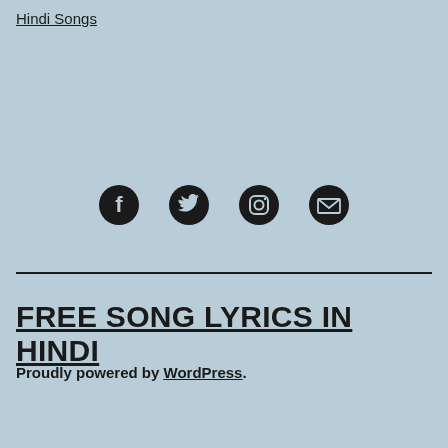Hindi Songs
[Figure (other): Social media icons: Facebook, Twitter, Instagram, Email/Mail]
FREE SONG LYRICS IN HINDI
Proudly powered by WordPress.